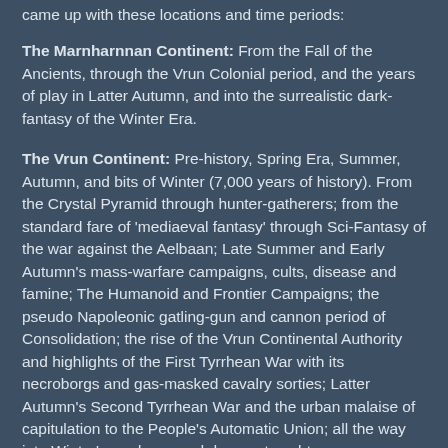came up with these locations and time periods:
The Marnharnnan Continent: From the Fall of the Ancients, through the Vrun Colonial period, and the years of play in Latter Autumn, and into the surrealistic dark-fantasy of the Winter Era.
The Vrun Continent: Pre-history, Spring Era, Summer, Autumn, and bits of Winter (7,000 years of history). From the Crystal Pyramid through hunter-gatherers; from the standard fare of 'mediaeval fantasy' through Sci-Fantasy of the war against the Aelbaan; Late Summer and Early Autumn's mass-warfare campaigns, cults, disease and famine; The Humanoid and Frontier Campaigns; the pseudo Napoleonic gatling-gun and cannon period of Consolidation; the rise of the Vrun Continental Authority and highlights of the First Tyrrhean War with its necroborgs and gas-masked cavalry sorties; Latter Autumn's Second Tyrrhean War and the urban malaise of capitulation to the People's Automatic Union; all the way into Winter's madness and desperate subterranean scramble.